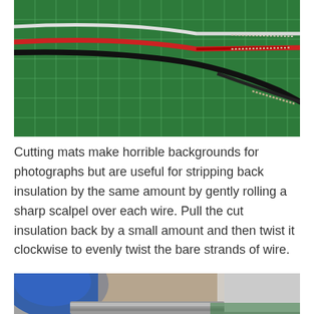[Figure (photo): Photo of three wires (white, red, black) with stripped insulation ends laid on a green cutting mat with grid lines]
Cutting mats make horrible backgrounds for photographs but are useful for stripping back insulation by the same amount by gently rolling a sharp scalpel over each wire. Pull the cut insulation back by a small amount and then twist it clockwise to evenly twist the bare strands of wire.
[Figure (photo): Photo showing close-up of a tool (likely a scalpel or wire stripper) over wires on a work surface, partially visible at bottom of page]